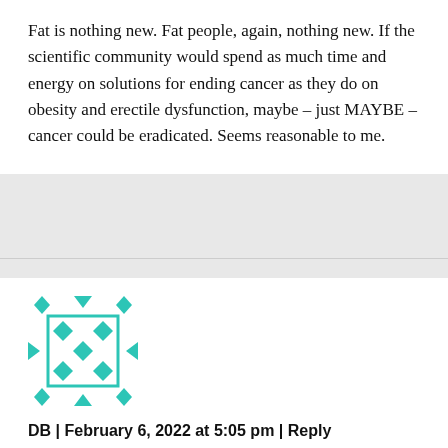Fat is nothing new. Fat people, again, nothing new. If the scientific community would spend as much time and energy on solutions for ending cancer as they do on obesity and erectile dysfunction, maybe – just MAYBE – cancer could be eradicated. Seems reasonable to me.
[Figure (illustration): Teal/turquoise geometric avatar icon with diamond and square pattern]
DB | February 6, 2022 at 5:05 pm | Reply
I saw no shaming in this article only facts telling you too much fat on your body amplifies and causes a cascade of other